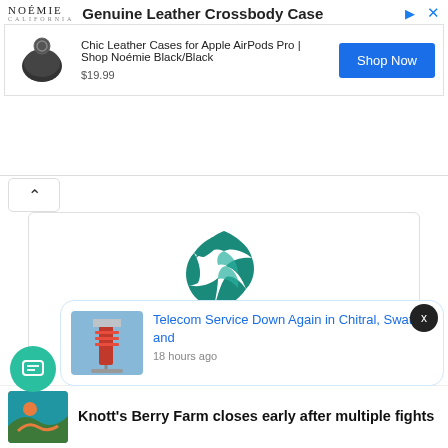[Figure (screenshot): Advertisement banner for Noemie Genuine Leather Crossbody Case with product image, price $19.99, and Shop Now button]
[Figure (logo): LH Staff profile logo - teal swirl/globe icon]
LH Staff
https://lahoreherald.com/
[Figure (infographic): Social media icons: Facebook, Instagram, LinkedIn, Pinterest, Twitter]
[Figure (screenshot): Push notification: Telecom Service Down Again in Chitral, Swat, and - 18 hours ago]
Knott's Berry Farm closes early after multiple fights